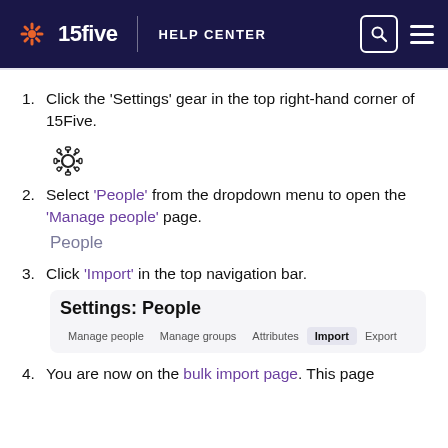15five HELP CENTER
Click the 'Settings' gear in the top right-hand corner of 15Five.
[Figure (illustration): Gear/settings icon outline in dark color]
Select 'People' from the dropdown menu to open the 'Manage people' page.
[Figure (screenshot): People label text in gray on light background, resembling a UI element]
Click 'Import' in the top navigation bar.
[Figure (screenshot): Settings: People page header with navigation tabs: Manage people, Manage groups, Attributes, Import (active), Export]
You are now on the bulk import page. This page